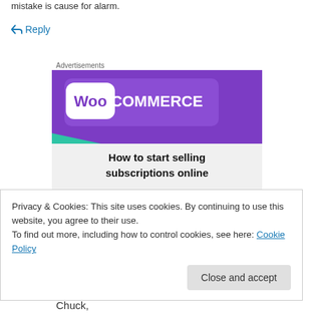mistake is cause for alarm.
↵ Reply
Advertisements
[Figure (illustration): WooCommerce advertisement banner showing the WooCommerce logo on a purple background with teal and blue geometric shapes, and text reading 'How to start selling subscriptions online']
Privacy & Cookies: This site uses cookies. By continuing to use this website, you agree to their use.
To find out more, including how to control cookies, see here: Cookie Policy
Close and accept
Chuck,